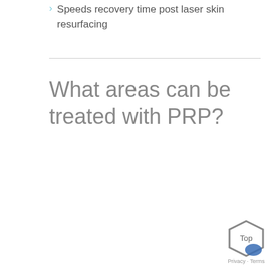Speeds recovery time post laser skin resurfacing
What areas can be treated with PRP?
Top · Privacy · Terms